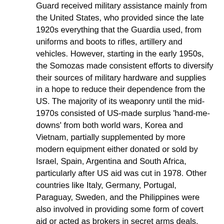Guard received military assistance mainly from the United States, who provided since the late 1920s everything that the Guardia used, from uniforms and boots to rifles, artillery and vehicles. However, starting in the early 1950s, the Somozas made consistent efforts to diversify their sources of military hardware and supplies in a hope to reduce their dependence from the US. The majority of its weaponry until the mid-1970s consisted of US-made surplus 'hand-me-downs' from both world wars, Korea and Vietnam, partially supplemented by more modern equipment either donated or sold by Israel, Spain, Argentina and South Africa, particularly after US aid was cut in 1978. Other countries like Italy, Germany, Portugal, Paraguay, Sweden, and the Philippines were also involved in providing some form of covert aid or acted as brokers in secret arms deals. 1920–1968 The Canadian Air Force (Canadian Air Force (1920–1924)) (CAF) was established in 1920 as the successor to a short-lived two-squadron air force formed during the First World War (World War I) in Europe, also named the Canadian Air Force (Canadian Air Force (1918–1920)). The new air force, managed by the Air Board (Air Board (Canada)), was largely focused on civilian operations such as forestry, surveying (Aerial survey) and anti-smuggling patrols. In 1923, the Air Board was amalgamated into the